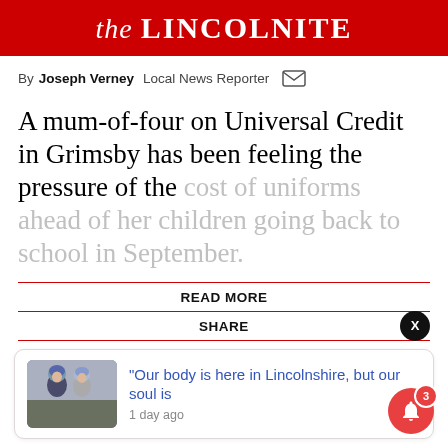the LINCOLNITE
By Joseph Verney  Local News Reporter
A mum-of-four on Universal Credit in Grimsby has been feeling the pressure of the cost of uniforms ahead of her children going back to school in September.
READ MORE
SHARE
[Figure (photo): Two people wearing equestrian helmets outdoors]
“Our body is here in Lincolnshire, but our soul is
1 day ago